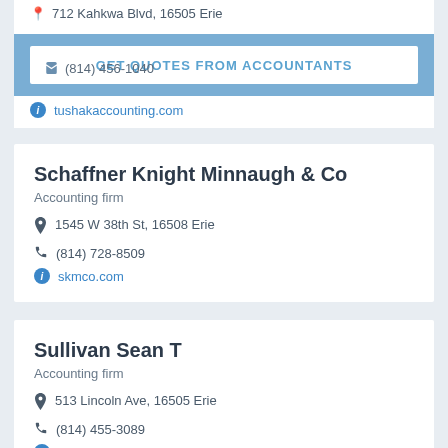712 Kahkwa Blvd, 16505 Erie
(814) 456-1040
GET QUOTES FROM ACCOUNTANTS
tushakaccounting.com
Schaffner Knight Minnaugh & Co
Accounting firm
1545 W 38th St, 16508 Erie
(814) 728-8509
skmco.com
Sullivan Sean T
Accounting firm
513 Lincoln Ave, 16505 Erie
(814) 455-3089
seancpa.com